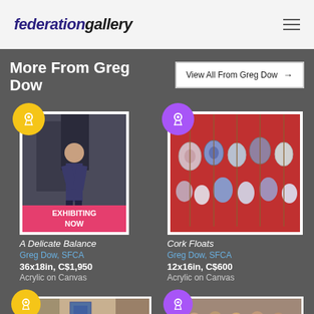federationgallery
More From Greg Dow
View All From Greg Dow →
[Figure (photo): Artwork: A Delicate Balance by Greg Dow, SFCA — figure in dark room, with EXHIBITING NOW banner]
A Delicate Balance
Greg Dow, SFCA
36x18in, C$1,950
Acrylic on Canvas
[Figure (photo): Artwork: Cork Floats by Greg Dow, SFCA — colorful cork floats hanging on red background]
Cork Floats
Greg Dow, SFCA
12x16in, C$600
Acrylic on Canvas
[Figure (photo): Partial artwork image bottom left — interior room scene]
[Figure (photo): Partial artwork image bottom right — group of figures from behind]